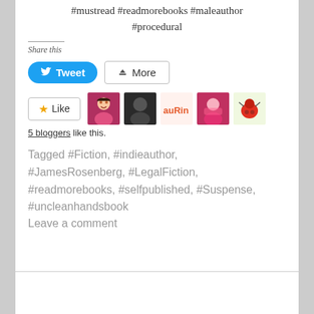#mustread #readmorebooks #maleauthor #procedural
Share this
[Figure (screenshot): Tweet and More share buttons]
[Figure (screenshot): Like button with 5 blogger avatars]
5 bloggers like this.
Tagged #Fiction, #indieauthor, #JamesRosenberg, #LegalFiction, #readmorebooks, #selfpublished, #Suspense, #uncleanhandsbook
Leave a comment